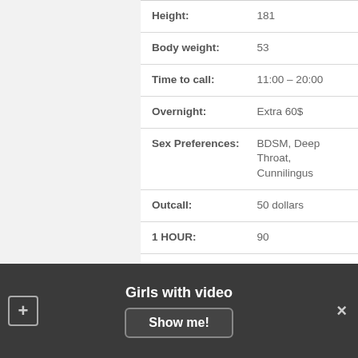| Height: | 181 |
| Body weight: | 53 |
| Time to call: | 11:00 – 20:00 |
| Overnight: | Extra 60$ |
| Sex Preferences: | BDSM, Deep Throat, Cunnilingus |
| Outcall: | 50 dollars |
| 1 HOUR: | 90 |
| Gangbang: | 440$ |
| Origin: | Czech |
VIDEO
Girls with video
Show me!